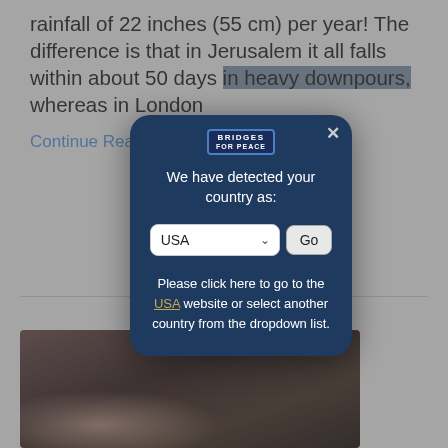rainfall of 22 inches (55 cm) per year! The difference is that in Jerusalem it all falls within about 50 days in heavy downpours, whereas in London
Continue Reading »
[Figure (screenshot): Modal popup dialog from Bridges for Peace website showing country detection with USA selected in dropdown, and a Go button. Text says 'We have detected your country as:' and 'Please click here to go to the USA website or select another country from the dropdown list.']
[Figure (photo): Dark photo of a person reading, partially visible]